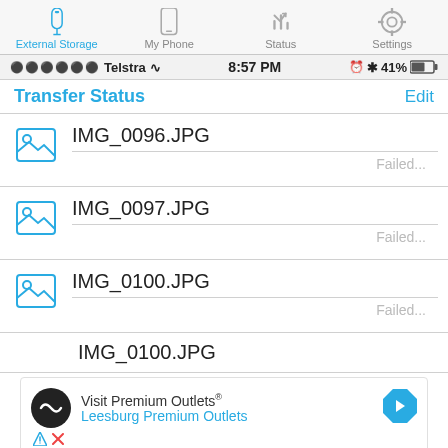[Figure (screenshot): Mobile app tab bar with icons for External Storage (active, blue), My Phone, Status, and Settings]
[Figure (screenshot): iOS status bar showing signal dots, Telstra carrier, WiFi, 8:57 PM time, alarm, Bluetooth, 41% battery]
Transfer Status
[Figure (screenshot): File list showing IMG_0096.JPG, IMG_0097.JPG, IMG_0100.JPG each with Failed... status, and partial IMG_0100.JPG row]
[Figure (screenshot): Advertisement for Visit Premium Outlets / Leesburg Premium Outlets with logo and navigation arrow]